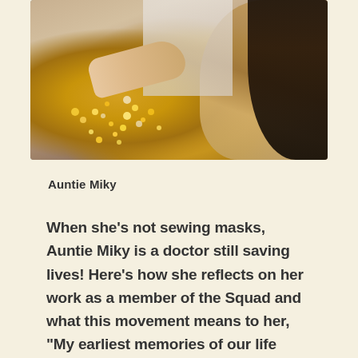[Figure (photo): A woman with long wavy blonde-brown hair, wearing a dark top, sewing or working on a sparkly/sequined gold fabric on a table. Her hands are visible working on the material.]
Auntie Miky
When she’s not sewing masks, Auntie Miky is a doctor still saving lives! Here’s how she reflects on her work as a member of the Squad and what this movement means to her, “My earliest memories of our life after immigrating